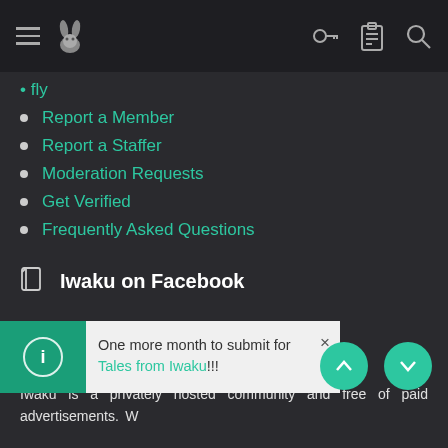Iwaku navigation header with hamburger menu, logo, key icon, clipboard icon, search icon
Report a Member
Report a Staffer
Moderation Requests
Get Verified
Frequently Asked Questions
Iwaku on Facebook
Supporting Iwaku
Iwaku is a privately hosted community and free of paid advertisements. We fund our hosting costs through the options below.
One more month to submit for Tales from Iwaku!!!